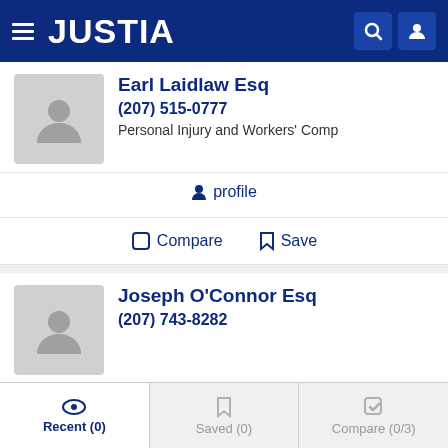JUSTIA
Earl Laidlaw Esq
(207) 515-0777
Personal Injury and Workers' Comp
profile
Compare  Save
Joseph O'Connor Esq
(207) 743-8282
profile
Compare  Save
Recent (0)  Saved (0)  Compare (0/3)